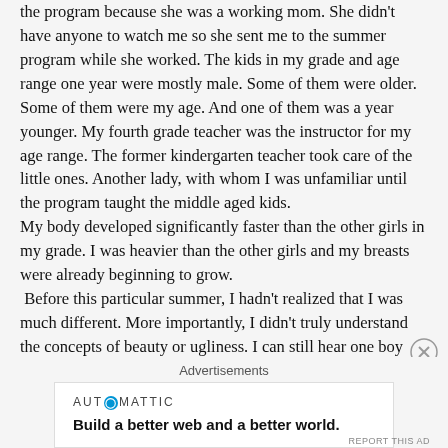the program because she was a working mom. She didn't have anyone to watch me so she sent me to the summer program while she worked. The kids in my grade and age range one year were mostly male. Some of them were older. Some of them were my age. And one of them was a year younger. My fourth grade teacher was the instructor for my age range. The former kindergarten teacher took care of the little ones. Another lady, with whom I was unfamiliar until the program taught the middle aged kids. My body developed significantly faster than the other girls in my grade. I was heavier than the other girls and my breasts were already beginning to grow. Before this particular summer, I hadn't realized that I was much different. More importantly, I didn't truly understand the concepts of beauty or ugliness. I can still hear one boy making fun of my stretch marks. Since we wore uniforms, my knee caps and arms were covered. The summer sun exposed me to a lot more
Advertisements
[Figure (other): Automattic advertisement banner: 'Build a better web and a better world.']